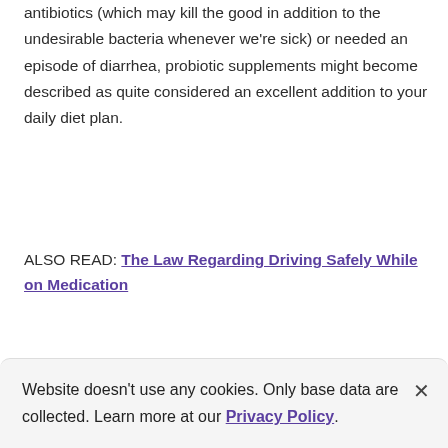antibiotics (which may kill the good in addition to the undesirable bacteria whenever we're sick) or needed an episode of diarrhea, probiotic supplements might become described as quite considered an excellent addition to your daily diet plan.
ALSO READ: The Law Regarding Driving Safely While on Medication
Website doesn't use any cookies. Only base data are collected. Learn more at our Privacy Policy.